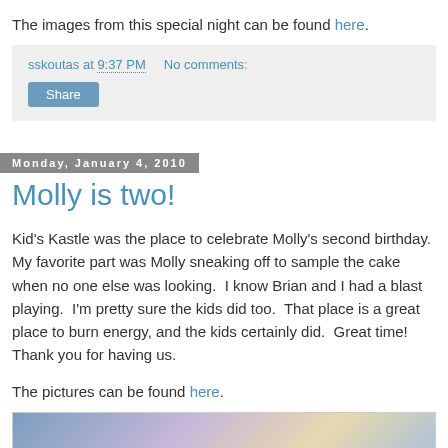The images from this special night can be found here.
sskoutas at 9:37 PM   No comments:
Share
Monday, January 4, 2010
Molly is two!
Kid's Kastle was the place to celebrate Molly's second birthday.  My favorite part was Molly sneaking off to sample the cake when no one else was looking.  I know Brian and I had a blast playing.  I'm pretty sure the kids did too.  That place is a great place to burn energy, and the kids certainly did.  Great time!  Thank you for having us.
The pictures can be found here.
[Figure (photo): Partial view of a birthday party photo at Kid's Kastle]